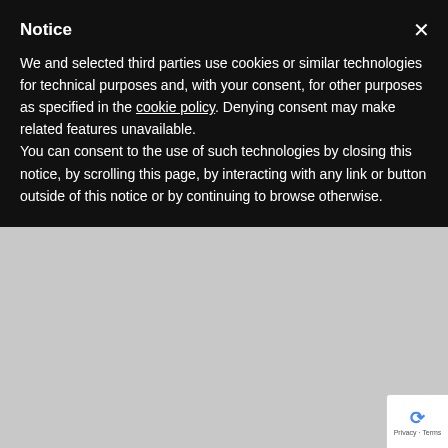Notice
We and selected third parties use cookies or similar technologies for technical purposes and, with your consent, for other purposes as specified in the cookie policy. Denying consent may make related features unavailable.
You can consent to the use of such technologies by closing this notice, by scrolling this page, by interacting with any link or button outside of this notice or by continuing to browse otherwise.
[Figure (photo): Partial view of a purple ring-shaped object on a wooden surface with text overlay reading 'THAT CAN BE USED BY ANYONE']
[Figure (screenshot): Hamburger menu icon (three horizontal lines)]
Gallen still waiting to be re-signed
ANDREW FERGUSON   16/04/2015
[Figure (photo): Sports photo showing rugby league players in light blue jerseys]